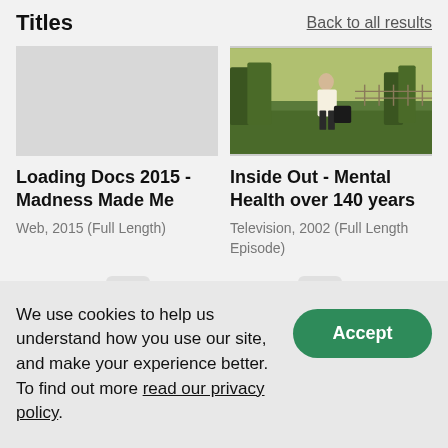Titles
Back to all results
[Figure (photo): Outdoor scene showing a person near trees and a fence, appears to be a documentary still]
Loading Docs 2015 - Madness Made Me
Web, 2015 (Full Length)
Inside Out - Mental Health over 140 years
Television, 2002 (Full Length Episode)
[Figure (illustration): Clock/time placeholder icon for left card]
[Figure (illustration): Clock/time placeholder icon for right card]
We use cookies to help us understand how you use our site, and make your experience better. To find out more read our privacy policy.